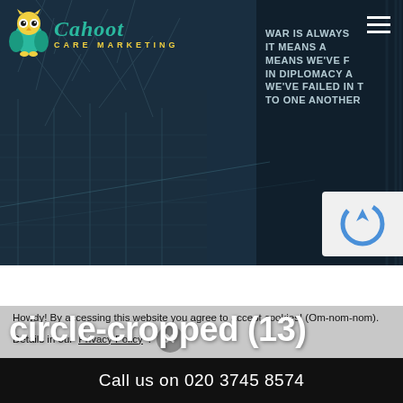[Figure (screenshot): Cahoot Care Marketing website hero section with dark blue background showing a building with text overlay, owl logo, and main heading 'circle-cropped (13)']
circle-cropped (13)
Howdy! By accessing this website you agree to accept cookies! (Om-nom-nom). Details in our Privacy Policy.
Call us on 020 3745 8574